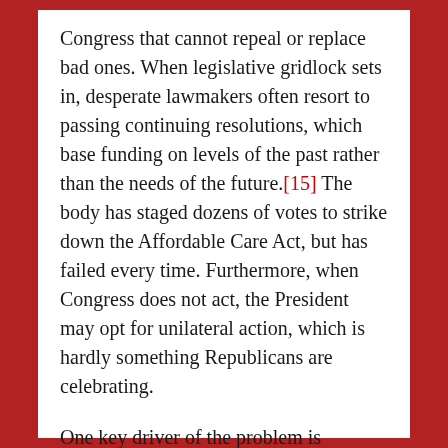Congress that cannot repeal or replace bad ones. When legislative gridlock sets in, desperate lawmakers often resort to passing continuing resolutions, which base funding on levels of the past rather than the needs of the future.[15] The body has staged dozens of votes to strike down the Affordable Care Act, but has failed every time. Furthermore, when Congress does not act, the President may opt for unilateral action, which is hardly something Republicans are celebrating.
One key driver of the problem is gerrymandering. Politically motivated redistricting has virtually guaranteed that Congress will be bitterly split, as most